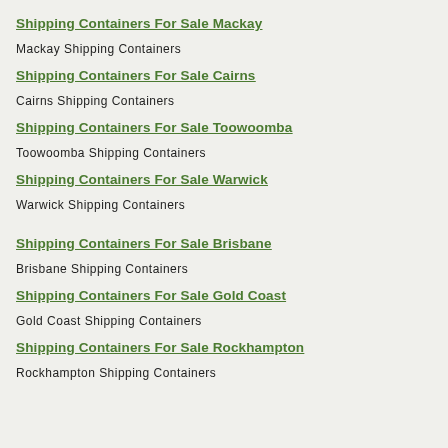Shipping Containers For Sale Mackay
Mackay Shipping Containers
Shipping Containers For Sale Cairns
Cairns Shipping Containers
Shipping Containers For Sale Toowoomba
Toowoomba Shipping Containers
Shipping Containers For Sale Warwick
Warwick Shipping Containers
Shipping Containers For Sale Brisbane
Brisbane Shipping Containers
Shipping Containers For Sale Gold Coast
Gold Coast Shipping Containers
Shipping Containers For Sale Rockhampton
Rockhampton Shipping Containers